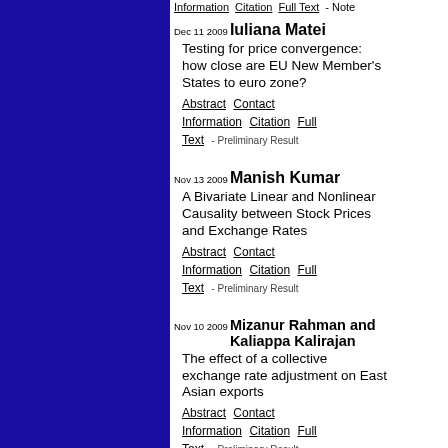Information  Citation  Full Text  -  Note
Dec 11 2009 Iuliana Matei — Testing for price convergence: how close are EU New Member's States to euro zone? Abstract Contact Information Citation Full Text - Preliminary Result
Nov 13 2009 Manish Kumar — A Bivariate Linear and Nonlinear Causality between Stock Prices and Exchange Rates Abstract Contact Information Citation Full Text - Preliminary Result
Nov 10 2009 Mizanur Rahman and Kaliappa Kalirajan — The effect of a collective exchange rate adjustment on East Asian exports Abstract Contact Information Citation Full Text - Preliminary Result